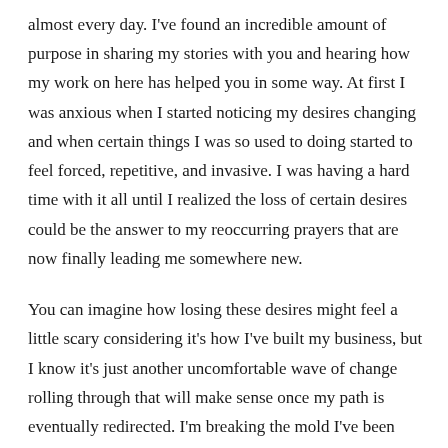almost every day. I've found an incredible amount of purpose in sharing my stories with you and hearing how my work on here has helped you in some way. At first I was anxious when I started noticing my desires changing and when certain things I was so used to doing started to feel forced, repetitive, and invasive. I was having a hard time with it all until I realized the loss of certain desires could be the answer to my reoccurring prayers that are now finally leading me somewhere new.
You can imagine how losing these desires might feel a little scary considering it's how I've built my business, but I know it's just another uncomfortable wave of change rolling through that will make sense once my path is eventually redirected. I'm breaking the mold I've been operating in for so long in order to be lead somewhere new.